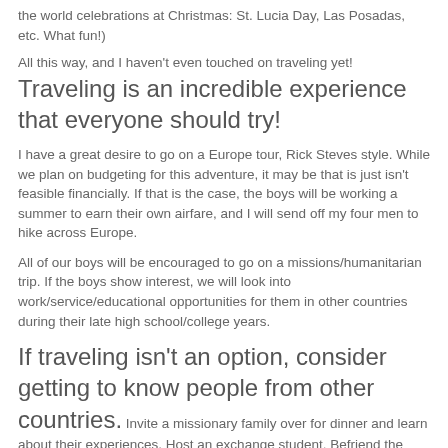the world celebrations at Christmas: St. Lucia Day, Las Posadas, etc. What fun!)
All this way, and I haven't even touched on traveling yet! Traveling is an incredible experience that everyone should try!
I have a great desire to go on a Europe tour, Rick Steves style. While we plan on budgeting for this adventure, it may be that is just isn't feasible financially. If that is the case, the boys will be working a summer to earn their own airfare, and I will send off my four men to hike across Europe.
All of our boys will be encouraged to go on a missions/humanitarian trip. If the boys show interest, we will look into work/service/educational opportunities for them in other countries during their late high school/college years.
If traveling isn't an option, consider getting to know people from other countries. Invite a missionary family over for dinner and learn about their experiences. Host an exchange student. Befriend the